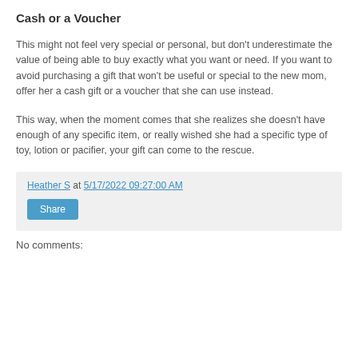Cash or a Voucher
This might not feel very special or personal, but don't underestimate the value of being able to buy exactly what you want or need. If you want to avoid purchasing a gift that won't be useful or special to the new mom, offer her a cash gift or a voucher that she can use instead.
This way, when the moment comes that she realizes she doesn't have enough of any specific item, or really wished she had a specific type of toy, lotion or pacifier, your gift can come to the rescue.
Heather S at 5/17/2022 09:27:00 AM
Share
No comments: